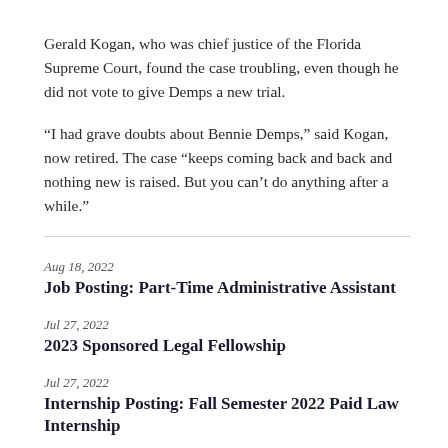Gerald Kogan, who was chief justice of the Florida Supreme Court, found the case troubling, even though he did not vote to give Demps a new trial.
“I had grave doubts about Bennie Demps,” said Kogan, now retired. The case “keeps coming back and back and nothing new is raised. But you can’t do anything after a while.”
Aug 18, 2022 — Job Posting: Part-Time Administrative Assistant
Jul 27, 2022 — 2023 Sponsored Legal Fellowship
Jul 27, 2022 — Internship Posting: Fall Semester 2022 Paid Law Internship